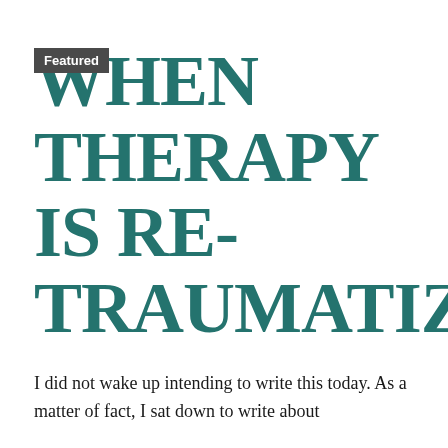Featured
WHEN THERAPY IS RE-TRAUMATIZING
I did not wake up intending to write this today. As a matter of fact, I sat down to write about